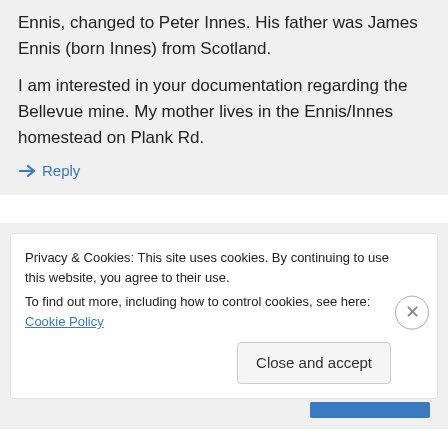Ennis, changed to Peter Innes. His father was James Ennis (born Innes) from Scotland.
I am interested in your documentation regarding the Bellevue mine. My mother lives in the Ennis/Innes homestead on Plank Rd.
↳ Reply
Privacy & Cookies: This site uses cookies. By continuing to use this website, you agree to their use.
To find out more, including how to control cookies, see here: Cookie Policy
Close and accept